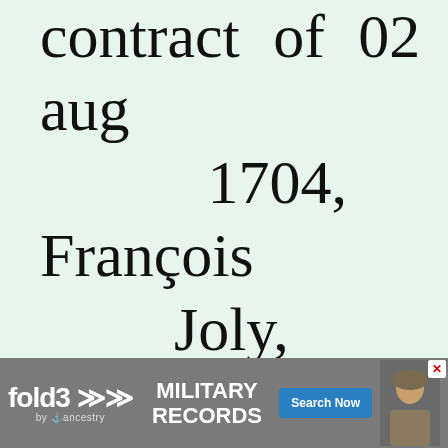contract of 02 aug 1704, François Joly, notary at Geneva (vol. 54, p. 225). The contract (or at least the a
[Figure (other): Advertisement banner for fold3 Military Records by Ancestry with Search Now button and soldier photo]